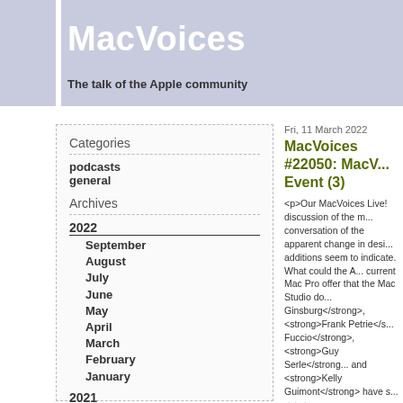MacVoices
The talk of the Apple community
Categories
podcasts
general
Archives
2022
September
August
July
June
May
April
March
February
January
2021
December
Fri, 11 March 2022
MacVoices #22050: MacV... Event (3)
<p>Our MacVoices Live! discussion of the m... conversation of the apparent change in desi... additions seem to indicate. What could the A... current Mac Pro offer that the Mac Studio do... Ginsburg</strong>, <strong>Frank Petrie</s... Fuccio</strong>, <strong>Guy Serle</strong... and <strong>Kelly Guimont</strong> have s... <p><a href="http://patreon.com/macvoices"... aligncenter" src="http://www.macvoices.com... 300x61.png" width="300" /></a></p> <p>This edition of MacVoices is brought to y... MacVoices Slack and MacVoices After Dark... <strong>Patreon.com/macvoices</strong><... <!--more--> <h3>Show Notes:</h3> <p><strong>Links:</strong></p> <p><strong><a href="https://www.apple.com... Event</a> </strong>(video)</p> <p><strong>Guests:</strong></p> <p><strong>Mark Fuccio</strong> is active...